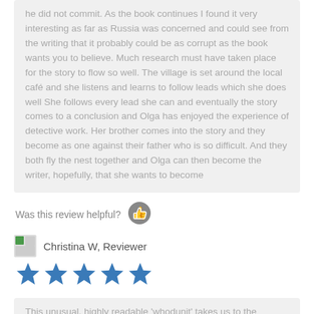he did not commit.  As the book continues I found it very interesting as far as Russia was concerned and could see from the writing that it probably could be as corrupt as the book wants you to believe. Much research must have taken place for the story to flow so well.  The village is set around the local café and she listens and learns to follow leads which she does well  She follows every lead she can and eventually the story comes to a conclusion and Olga has enjoyed the experience of detective work. Her brother comes into the story and they become as one against their father who is so difficult. And they both fly the nest together and Olga can then become the writer, hopefully, that she wants to become
Was this review helpful?
[Figure (illustration): Thumbs up icon (circular grey button)]
Christina W, Reviewer
[Figure (illustration): Five blue stars rating]
This unusual, highly readable 'whodunit' takes us to the